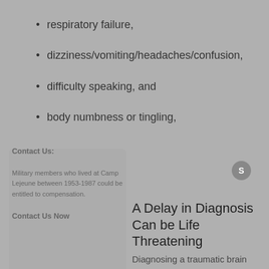respiratory failure,
dizziness/vomiting/headaches/confusion,
difficulty speaking, and
body numbness or tingling,
A Delay in Diagnosis Can be Life Threatening
Diagnosing a traumatic brain injury as early as possible is extremely important so that treatment may be given immediately. A delay in diagnosis or failure to diagnose a TBI due to medical malpractice can introduce